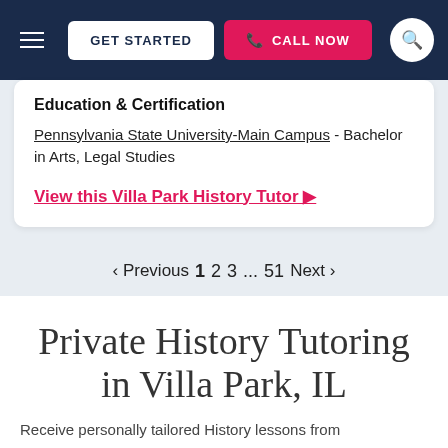GET STARTED | CALL NOW
Education & Certification
Pennsylvania State University-Main Campus - Bachelor in Arts, Legal Studies
View this Villa Park History Tutor ▶
‹ Previous 1 2 3 … 51 Next ›
Private History Tutoring in Villa Park, IL
Receive personally tailored History lessons from